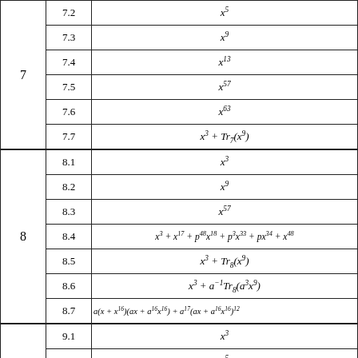| Chapter | Section | Formula |
| --- | --- | --- |
| 7 | 7.2 | x^5 |
|  | 7.3 | x^9 |
|  | 7.4 | x^13 |
|  | 7.5 | x^57 |
|  | 7.6 | x^63 |
|  | 7.7 | x^3 + Tr_7(x^9) |
| 8 | 8.1 | x^3 |
|  | 8.2 | x^9 |
|  | 8.3 | x^57 |
|  | 8.4 | x^3 + x^17 + p^48 x^18 + p^3 x^33 + px^34 + x^48 |
|  | 8.5 | x^3 + Tr_8(x^9) |
|  | 8.6 | x^3 + a^{-1} Tr_8(a^3 x^9) |
|  | 8.7 | a(x + x^16)(ax + a^16 x^16) + a^17(ax + a^16 x^16)^12 |
| 9 | 9.1 | x^3 |
|  | 9.2 | x^5 |
|  | 9.3 | x^17 |
|  | 9.4 | x^13 |
|  | 9.5 | x^241 |
|  | 9.6 | x^19 |